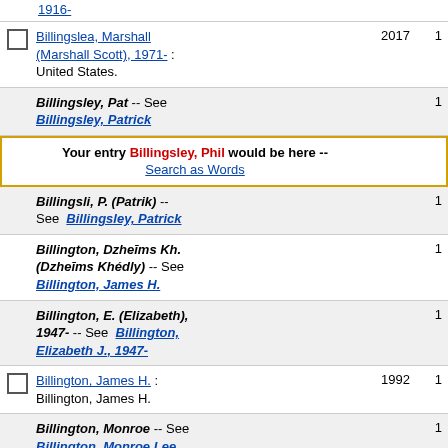1916-
Billingslea, Marshall (Marshall Scott), 1971- : United States. 2017 1
Billingsley, Pat -- See Billingsley, Patrick 1
Your entry Billingsley, Phil would be here -- Search as Words
Billingsli, P. (Patrik) -- See Billingsley, Patrick 1
Billington, Dzheims Kh. (Dzheims Khedily) -- See Billington, James H. 1
Billington, E. (Elizabeth), 1947- -- See Billington, Elizabeth J., 1947- 1
Billington, James H. : Billington, James H. 1992 1
Billington, Monroe -- See Billington, Monroe Lee 1
Billington, Raymond John -- See Billington, Ray 1
Billion (The number) -- Juvenile literature. : Schwartz, David M. 1985 1